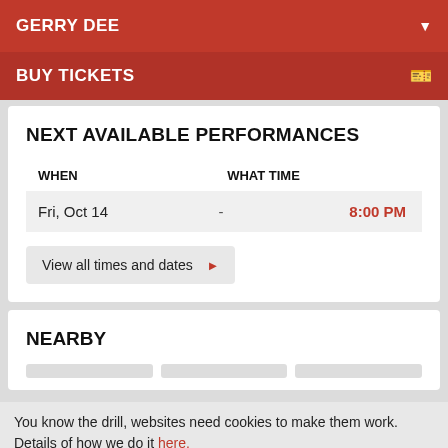GERRY DEE
BUY TICKETS
NEXT AVAILABLE PERFORMANCES
| WHEN | WHAT TIME |
| --- | --- |
| Fri, Oct 14 | - | 8:00 PM |
View all times and dates ▶
NEARBY
You know the drill, websites need cookies to make them work. Details of how we do it here.
Got it!